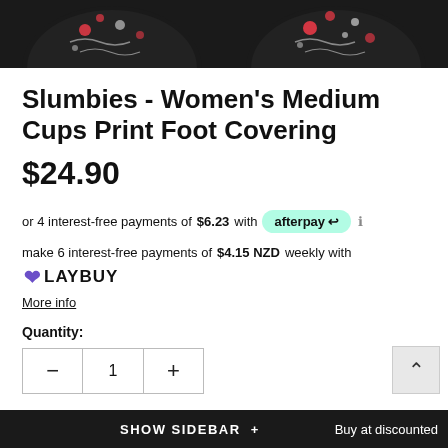[Figure (photo): Top portion of two slipper/foot covering products shown against a black background, partially cropped at top of page]
Slumbies - Women's Medium Cups Print Foot Covering
$24.90
or 4 interest-free payments of $6.23 with afterpay
make 6 interest-free payments of $4.15 NZD weekly with LAYBUY
More info
Quantity:
Subtotal: $24.90
SHOW SIDEBAR +    Buy at discounted